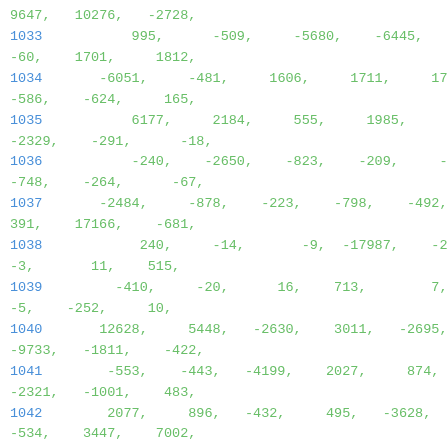9647, 10276, -2728,
1033 995, -509, -5680, -6445, -454,
-60, 1701, 1812,
1034 -6051, -481, 1606, 1711, 175,
-586, -624, 165,
1035 6177, 2184, 555, 1985, 6589,
-2329, -291, -18,
1036 -240, -2650, -823, -209, -74,
-748, -264, -67,
1037 -2484, -878, -223, -798, -492,
391, 17166, -681,
1038 240, -14, -9, -17987, -28,
-3, 11, 515,
1039 -410, -20, 16, 713, 7,
-5, -252, 10,
1040 12628, 5448, -2630, 3011, -2695,
-9733, -1811, -422,
1041 -553, -443, -4199, 2027, 874,
-2321, -1001, 483,
1042 2077, 896, -432, 495, -3628,
-534, 3447, 7002,
1043 6751, -803, -17, -725, -2992,
-2782, -118, 763,
1044 112, 1550, 228, -1473, 1495,
220, -1420, -2885,